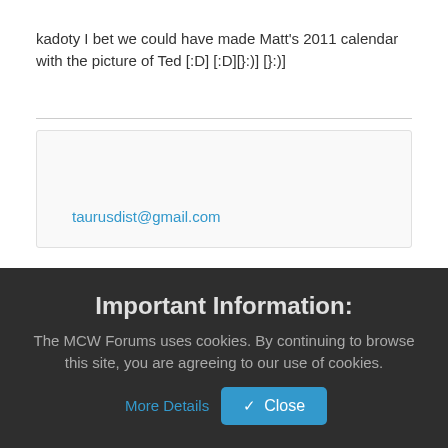kadoty I bet we could have made Matt's 2011 calendar with the picture of Ted [:D] [:D][}:)] [}:)]
taurusdist@gmail.com
Important Information:
The MCW Forums uses cookies. By continuing to browse this site, you are agreeing to our use of cookies.